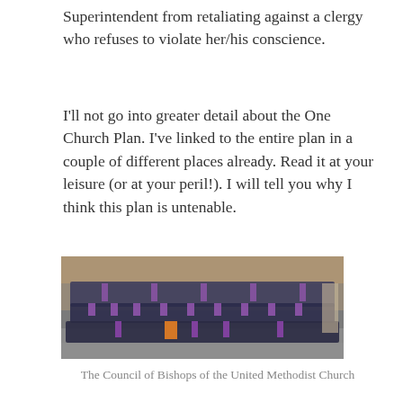Superintendent from retaliating against a clergy who refuses to violate her/his conscience.
I'll not go into greater detail about the One Church Plan. I've linked to the entire plan in a couple of different places already. Read it at your leisure (or at your peril!). I will tell you why I think this plan is untenable.
[Figure (photo): Group photo of the Council of Bishops of the United Methodist Church, a large group of people standing and seated in rows in front of a brick building, many wearing purple stoles or clerical attire.]
The Council of Bishops of the United Methodist Church